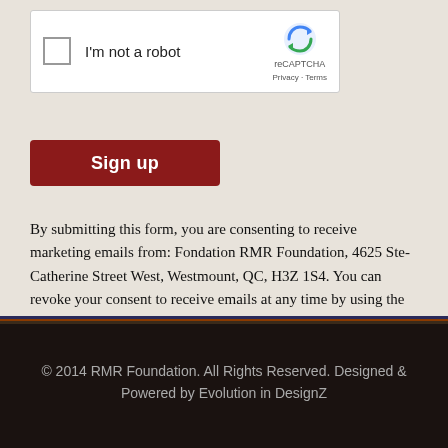[Figure (screenshot): reCAPTCHA widget with checkbox labeled 'I'm not a robot' and reCAPTCHA branding with Privacy and Terms links]
Sign up
By submitting this form, you are consenting to receive marketing emails from: Fondation RMR Foundation, 4625 Ste-Catherine Street West, Westmount, QC, H3Z 1S4. You can revoke your consent to receive emails at any time by using the SafeUnsubscribe® link, found at the bottom of every email. Emails are serviced by Constant Contact
© 2014 RMR Foundation. All Rights Reserved. Designed & Powered by Evolution in DesignZ